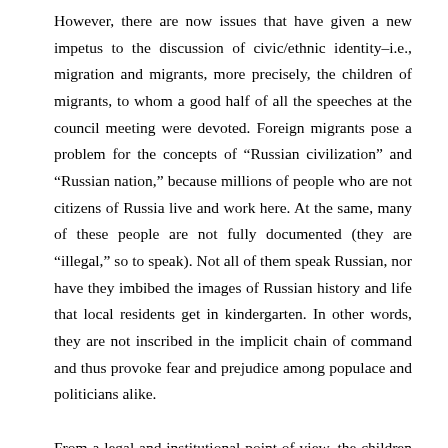However, there are now issues that have given a new impetus to the discussion of civic/ethnic identity–i.e., migration and migrants, more precisely, the children of migrants, to whom a good half of all the speeches at the council meeting were devoted. Foreign migrants pose a problem for the concepts of “Russian civilization” and “Russian nation,” because millions of people who are not citizens of Russia live and work here. At the same, many of these people are not fully documented (they are “illegal,” so to speak). Not all of them speak Russian, nor have they imbibed the images of Russian history and life that local residents get in kindergarten. In other words, they are not inscribed in the implicit chain of command and thus provoke fear and prejudice among populace and politicians alike.
From a legal and institutional point of view, the children of